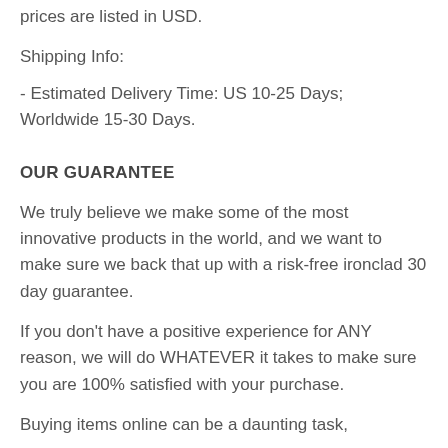prices are listed in USD.
Shipping Info:
- Estimated Delivery Time: US 10-25 Days; Worldwide 15-30 Days.
OUR GUARANTEE
We truly believe we make some of the most innovative products in the world, and we want to make sure we back that up with a risk-free ironclad 30 day guarantee.
If you don't have a positive experience for ANY reason, we will do WHATEVER it takes to make sure you are 100% satisfied with your purchase.
Buying items online can be a daunting task,